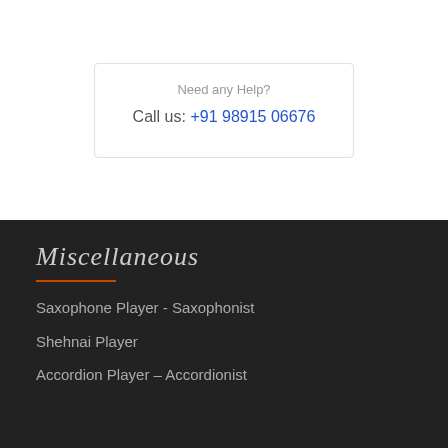Need any Help?
Call us: +91 98915 06676
Miscellaneous
Saxophone Player - Saxophonist
Shehnai Player
Accordion Player – Accordionist